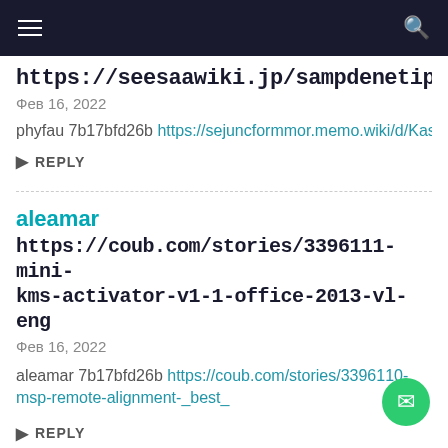Navigation bar with hamburger menu and search icon
https://seesaawiki.jp/sampdenetips/d/A...
Фев 16, 2022
phyfau 7b17bfd26b https://sejuncformmor.memo.wiki/d/Kasu%20...
REPLY
aleamar
https://coub.com/stories/3396111-mini-kms-activator-v1-1-office-2013-vl-eng
Фев 16, 2022
aleamar 7b17bfd26b https://coub.com/stories/3396110-msp-remote-alignment-_best_
REPLY